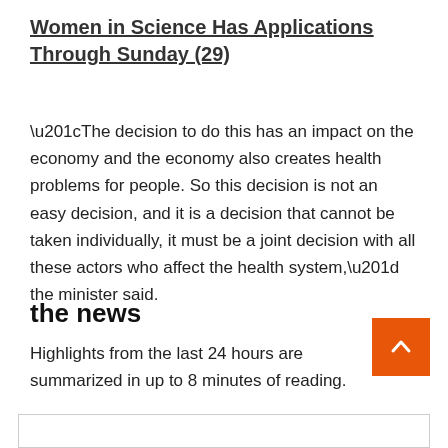Women in Science Has Applications Through Sunday (29)
“The decision to do this has an impact on the economy and the economy also creates health problems for people. So this decision is not an easy decision, and it is a decision that cannot be taken individually, it must be a joint decision with all these actors who affect the health system,” the minister said.
the news
Highlights from the last 24 hours are summarized in up to 8 minutes of reading.